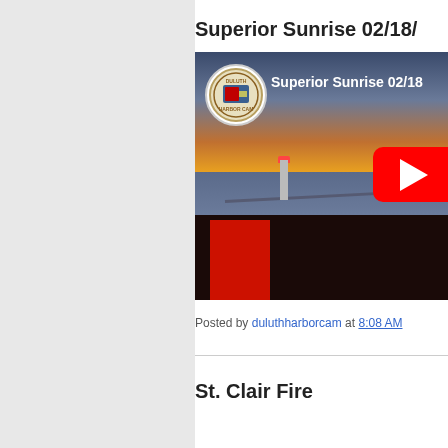Superior Sunrise 02/18/
[Figure (screenshot): YouTube video thumbnail showing Superior Sunrise harbor cam footage with Duluth Harbor Cam logo overlay, lighthouse, pier, snow-covered ground, dawn sky with orange glow, and YouTube play button.]
Posted by duluthharborcam at 8:08 AM
St. Clair Fire